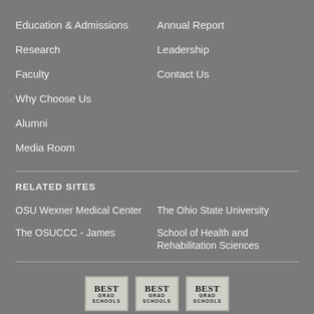Education & Admissions
Annual Report
Research
Leadership
Faculty
Contact Us
Why Choose Us
Alumni
Media Room
RELATED SITES
OSU Wexner Medical Center
The Ohio State University
The OSUCCC - James
School of Health and Rehabilitation Sciences
[Figure (logo): Three 'BEST GRAD SCHOOLS' badge logos side by side at the bottom of the page]